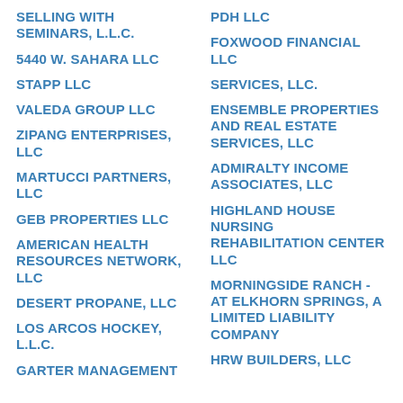SELLING WITH SEMINARS, L.L.C.
5440 W. SAHARA LLC
STAPP LLC
VALEDA GROUP LLC
ZIPANG ENTERPRISES, LLC
MARTUCCI PARTNERS, LLC
GEB PROPERTIES LLC
AMERICAN HEALTH RESOURCES NETWORK, LLC
DESERT PROPANE, LLC
LOS ARCOS HOCKEY, L.L.C.
GARTER MANAGEMENT
PDH LLC
FOXWOOD FINANCIAL LLC
SERVICES, LLC.
ENSEMBLE PROPERTIES AND REAL ESTATE SERVICES, LLC
ADMIRALTY INCOME ASSOCIATES, LLC
HIGHLAND HOUSE NURSING REHABILITATION CENTER LLC
MORNINGSIDE RANCH - AT ELKHORN SPRINGS, A LIMITED LIABILITY COMPANY
HRW BUILDERS, LLC